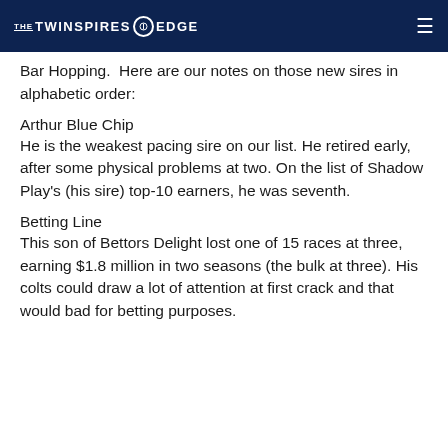THE TWINSPIRES EDGE
Bar Hopping.  Here are our notes on those new sires in alphabetic order:
Arthur Blue Chip
He is the weakest pacing sire on our list. He retired early, after some physical problems at two. On the list of Shadow Play's (his sire) top-10 earners, he was seventh.
Betting Line
This son of Bettors Delight lost one of 15 races at three, earning $1.8 million in two seasons (the bulk at three). His colts could draw a lot of attention at first crack and that would bad for betting purposes.